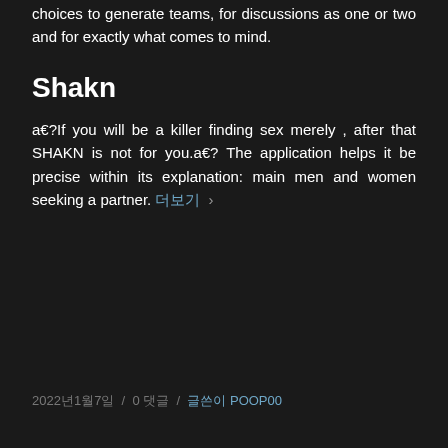choices to generate teams, for discussions as one or two and for exactly what comes to mind.
Shakn
a€?If you will be a killer finding sex merely , after that SHAKN is not for you.a€? The application helps it be precise within its explanation: main men and women seeking a partner. 더보기 ›
2022년1월7일 / 0 댓글 / 글쓴이 POOP00